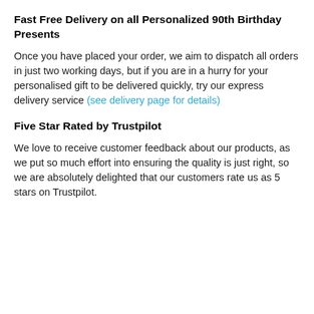Fast Free Delivery on all Personalized 90th Birthday Presents
Once you have placed your order, we aim to dispatch all orders in just two working days, but if you are in a hurry for your personalised gift to be delivered quickly, try our express delivery service (see delivery page for details)
Five Star Rated by Trustpilot
We love to receive customer feedback about our products, as we put so much effort into ensuring the quality is just right, so we are absolutely delighted that our customers rate us as 5 stars on Trustpilot.